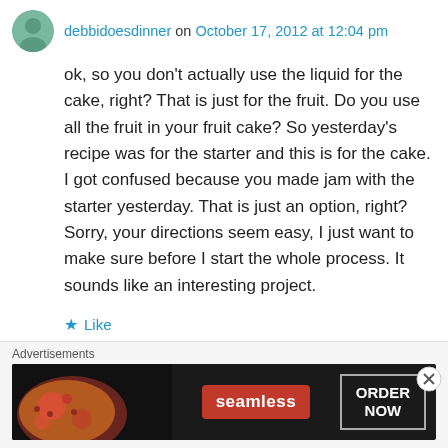debbidoesdinner on October 17, 2012 at 12:04 pm
ok, so you don't actually use the liquid for the cake, right? That is just for the fruit. Do you use all the fruit in your fruit cake? So yesterday's recipe was for the starter and this is for the cake. I got confused because you made jam with the starter yesterday. That is just an option, right? Sorry, your directions seem easy, I just want to make sure before I start the whole process. It sounds like an interesting project.
★ Like
↳ Reply
Advertisements
[Figure (screenshot): Seamless food delivery advertisement banner with pizza image, Seamless logo in red, and ORDER NOW button]